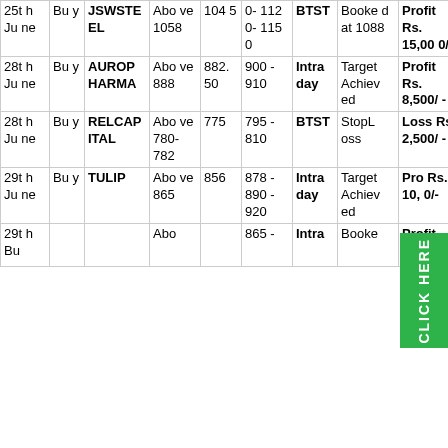| Date | Action | Stock | Buy Above | Buy Price | Target | Type | Status | Result |
| --- | --- | --- | --- | --- | --- | --- | --- | --- |
| 25th June | Buy | JSWSTEEL | Above 1058 | 1045 | 0-1120-1150 | BTST | Booked at 1088 | Profit Rs. 15,000/- |
| 28th June | Buy | AUROPHARMA | Above 888 | 882.50 | 900-910 | Intraday | Target Achieved | Profit Rs. 8,500/- |
| 28th June | Buy | RELCAPITAL | Above 780-782 | 775 | 795-810 | BTST | StopLoss | Loss Rs. 2,500/- |
| 29th June | Buy | TULIP | Above 865 | 856 | 878-890-920 | Intraday | Target Achieved | Profit Rs. 10,000/- |
| 29th June | Bu |  | Abo |  | 865- | Intra | Booke | Profit Rs. |